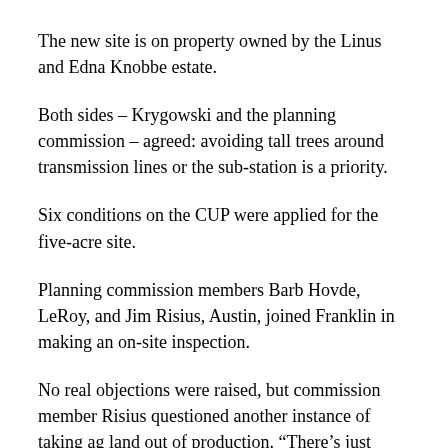The new site is on property owned by the Linus and Edna Knobbe estate.
Both sides – Krygowski and the planning commission – agreed: avoiding tall trees around transmission lines or the sub-station is a priority.
Six conditions on the CUP were applied for the five-acre site.
Planning commission members Barb Hovde, LeRoy, and Jim Risius, Austin, joined Franklin in making an on-site inspection.
No real objections were raised, but commission member Risius questioned another instance of taking ag land out of production. “There’s just getting to be more and more of this all the time,” said Risius.
According to Risius, he visited with Ray Tucker, 2nd